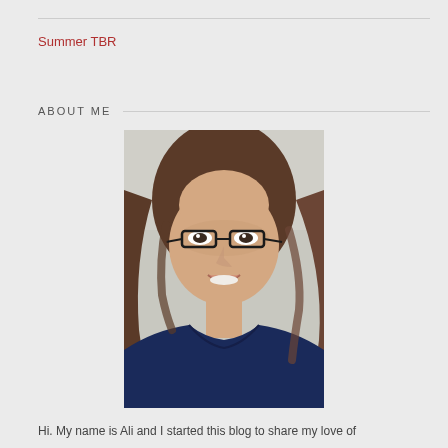Summer TBR
ABOUT ME
[Figure (photo): Portrait photo of a woman with long brown hair and glasses, smiling, wearing a dark navy blue top]
Hi. My name is Ali and I started this blog to share my love of